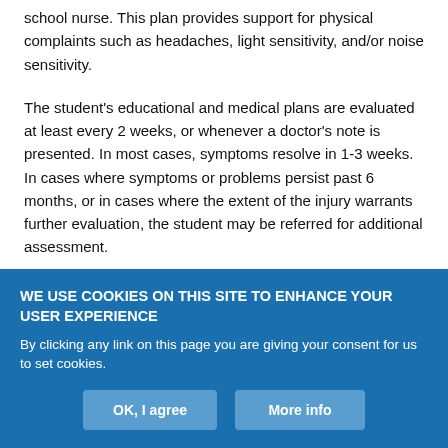school nurse. This plan provides support for physical complaints such as headaches, light sensitivity, and/or noise sensitivity.
The student's educational and medical plans are evaluated at least every 2 weeks, or whenever a doctor's note is presented. In most cases, symptoms resolve in 1-3 weeks. In cases where symptoms or problems persist past 6 months, or in cases where the extent of the injury warrants further evaluation, the student may be referred for additional assessment.
Conclusion
WE USE COOKIES ON THIS SITE TO ENHANCE YOUR USER EXPERIENCE
By clicking any link on this page you are giving your consent for us to set cookies.